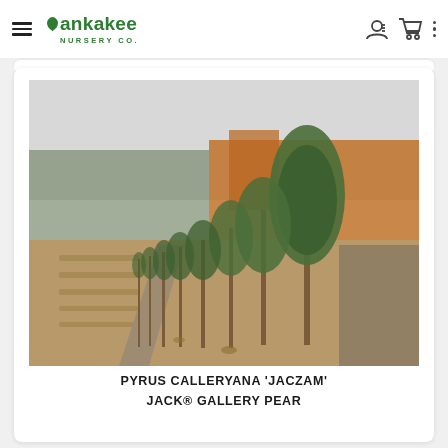Kankakee Nursery Co.
[Figure (photo): Row of young Pyrus calleryana 'Jaczam' (Jack® Gallery Pear) trees planted in a nursery field, with orange-leafed trees and overcast sky in background]
PYRUS CALLERYANA 'JACZAM'
JACK® GALLERY PEAR